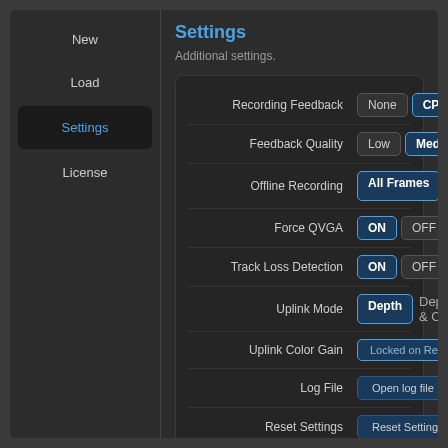New
Load
Settings
License
Settings
Additional settings.
| Setting | Options |
| --- | --- |
| Recording Feedback | None | CPU | GP… |
| Feedback Quality | Low | Medium | … |
| Offline Recording | All Frames | Key Fr… |
| Force QVGA | ON | OFF |
| Track Loss Detection | ON | OFF |
| Uplink Mode | Depth | Depth & C… |
| Uplink Color Gain | Locked on Record |
| Log File | Open log file |
| Reset Settings | Reset Settings to Def… |